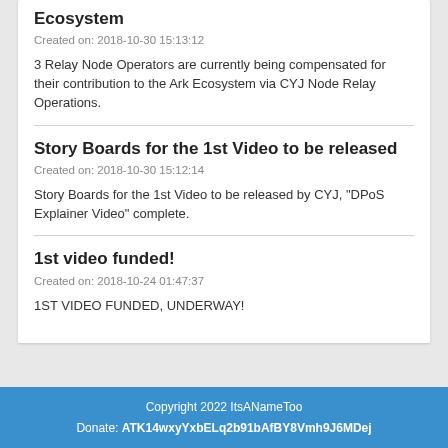Ecosystem
Created on: 2018-10-30 15:13:12
3 Relay Node Operators are currently being compensated for their contribution to the Ark Ecosystem via CYJ Node Relay Operations.
Story Boards for the 1st Video to be released
Created on: 2018-10-30 15:12:14
Story Boards for the 1st Video to be released by CYJ, "DPoS Explainer Video" complete.
1st video funded!
Created on: 2018-10-24 01:47:37
1ST VIDEO FUNDED, UNDERWAY!
Copyright 2022 ItsANameToo
Donate: ATK14wxyYxbELq2b91bAfBY8Vmh9J6MDej